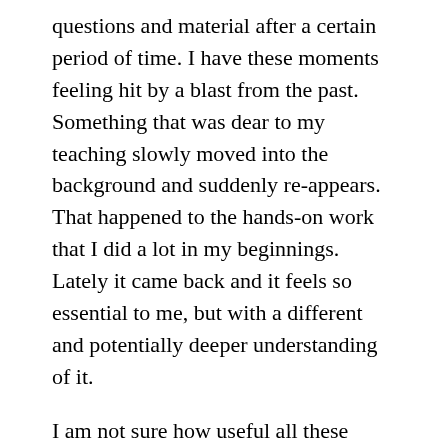questions and material after a certain period of time. I have these moments feeling hit by a blast from the past. Something that was dear to my teaching slowly moved into the background and suddenly re-appears. That happened to the hands-on work that I did a lot in my beginnings. Lately it came back and it feels so essential to me, but with a different and potentially deeper understanding of it.
I am not sure how useful all these thoughts might be for people, who are more in the beginning of their teaching. I feel that my teaching is a continues journey of building up trust to control less. But trust doesn't grow over night. All my detailed planing felt necessary to dare to improvise the teaching more and more. I guess we all have our individual processes and can't jump